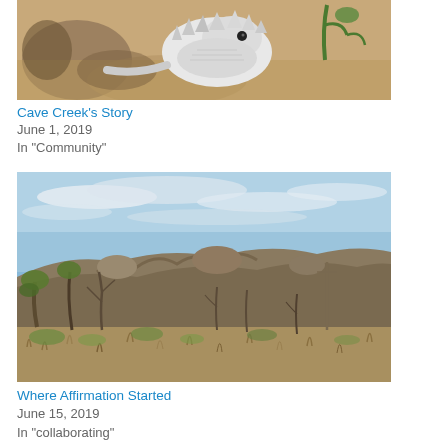[Figure (photo): Close-up photo of a white horned lizard (armadillo lizard) on sandy/rocky ground in sunlight]
Cave Creek's Story
June 1, 2019
In "Community"
[Figure (photo): Landscape photo of a desert hillside with sparse trees, rocky terrain, and blue sky with wispy clouds]
Where Affirmation Started
June 15, 2019
In "collaborating"